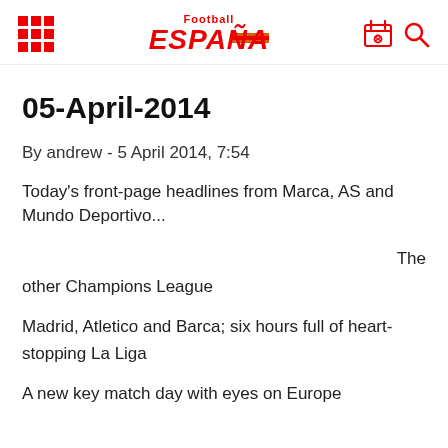Football ESPANA
05-April-2014
By andrew - 5 April 2014, 7:54
Today's front-page headlines from Marca, AS and Mundo Deportivo...
The other Champions League
Madrid, Atletico and Barca; six hours full of heart-stopping La Liga
A new key match day with eyes on Europe